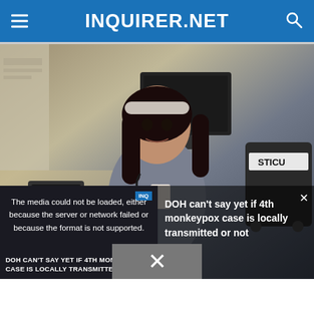INQUIRER.NET
[Figure (photo): Nurse in gray scrubs sitting at a hospital desk with a stethoscope around her neck, wearing a floral headband, holding a Starbucks cup. Hospital equipment visible in background including a monitor, phone, and STICU labeled cart.]
The media could not be loaded, either because the server or network failed or because the format is not supported.
DOH can't say yet if 4th monkeypox case is locally transmitted or not
DOH CAN'T SAY YET IF 4TH MONKEYPOX CASE IS LOCALLY TRANSMITTED OR NOT